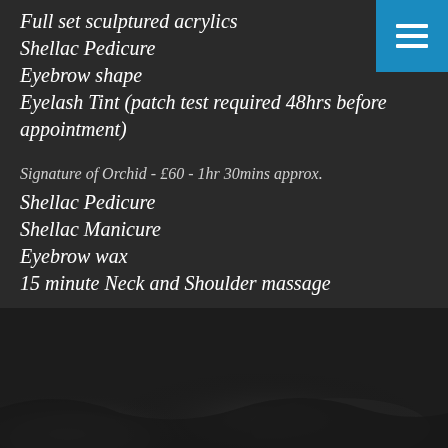Full set sculptured acrylics
Shellac Pedicure
Eyebrow shape
Eyelash Tint (patch test required 48hrs before appointment)
Signature of Orchid - £60 - 1hr 30mins approx.
Shellac Pedicure
Shellac Manicure
Eyebrow wax
15 minute Neck and Shoulder massage
[Figure (photo): Dark background with a faint silhouette/image visible at the bottom of the page, possibly hands or a beauty treatment scene.]